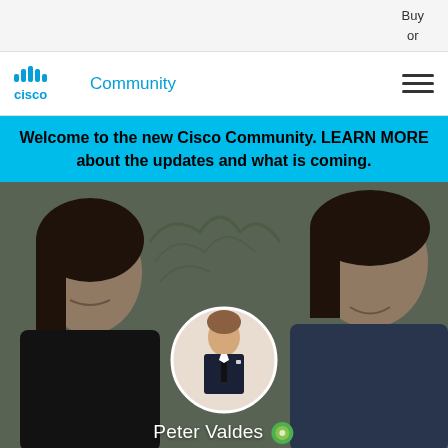Buy
or
[Figure (logo): Cisco logo with antenna bars and 'Community' text beside it, plus hamburger menu icon on the right]
Welcome to the new Cisco Community. LEARN MORE about the updates and what is coming.
[Figure (photo): Hero image showing two people smiling, with a circular profile photo of a man in a dark suit in the center, and the name 'Peter Valdes' with an icon at the bottom]